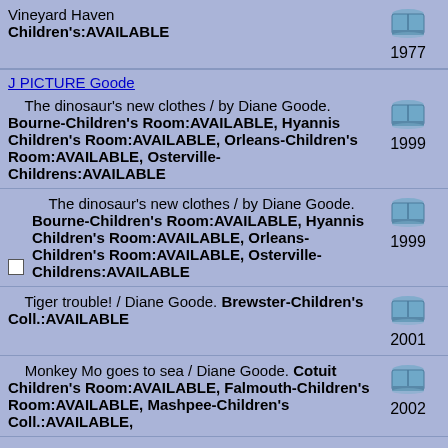Vineyard Haven Children's:AVAILABLE 1977
J PICTURE Goode
The dinosaur's new clothes / by Diane Goode. Bourne-Children's Room:AVAILABLE, Hyannis Children's Room:AVAILABLE, Orleans-Children's Room:AVAILABLE, Osterville-Childrens:AVAILABLE 1999
The dinosaur's new clothes / by Diane Goode. Bourne-Children's Room:AVAILABLE, Hyannis Children's Room:AVAILABLE, Orleans-Children's Room:AVAILABLE, Osterville-Childrens:AVAILABLE 1999
Tiger trouble! / Diane Goode. Brewster-Children's Coll.:AVAILABLE 2001
Monkey Mo goes to sea / Diane Goode. Cotuit Children's Room:AVAILABLE, Falmouth-Children's Room:AVAILABLE, Mashpee-Children's Coll.:AVAILABLE, 2002